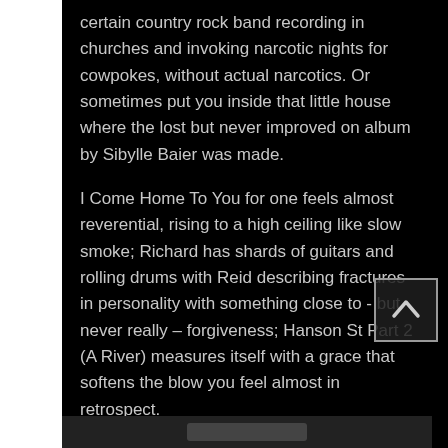certain country rock band recording in churches and invoking narcotic nights for cowpokes, without actual narcotics. Or sometimes put you inside that little house where the lost but never improved on album by Sibylle Baier was made.
I Come Home To You for one feels almost reverential, rising to a high ceiling like slow smoke; Richard has shards of guitars and rolling drums with Reid describing fractures in personality with something close to - but never really – forgiveness; Hanson St Part 2 (A River) measures itself with a grace that softens the blow you feel almost in retrospect.
That's another thing. The songs and the sound are superb, but Nadia Reid's singing is something bey[...]t's right there, in